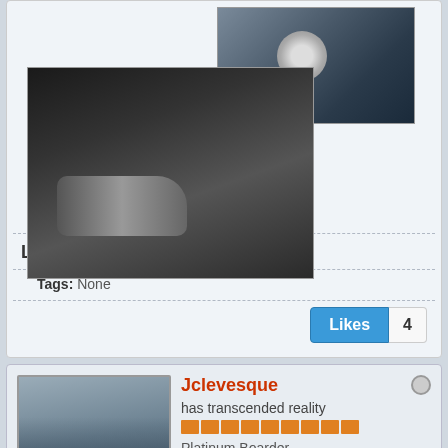[Figure (photo): Motorcycle photo top right - close up of motorcycle front]
[Figure (photo): Motorcycle photo bottom left - motorcycle on trailer]
LET'S RIDE
Tags: None
Likes 4
[Figure (photo): User avatar - Jclevesque profile photo showing motorcycle]
Jclevesque
has transcended reality
Platinum Boarder